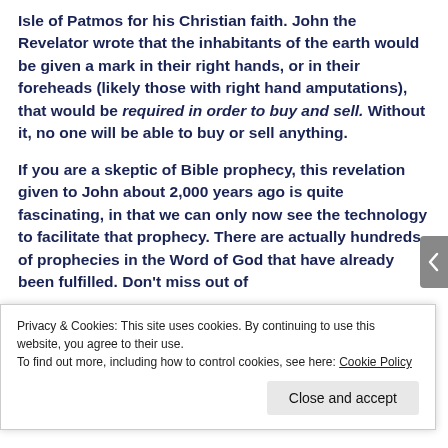Isle of Patmos for his Christian faith. John the Revelator wrote that the inhabitants of the earth would be given a mark in their right hands, or in their foreheads (likely those with right hand amputations), that would be required in order to buy and sell. Without it, no one will be able to buy or sell anything.

If you are a skeptic of Bible prophecy, this revelation given to John about 2,000 years ago is quite fascinating, in that we can only now see the technology to facilitate that prophecy. There are actually hundreds of prophecies in the Word of God that have already been fulfilled. Don't miss out of
Privacy & Cookies: This site uses cookies. By continuing to use this website, you agree to their use.
To find out more, including how to control cookies, see here: Cookie Policy